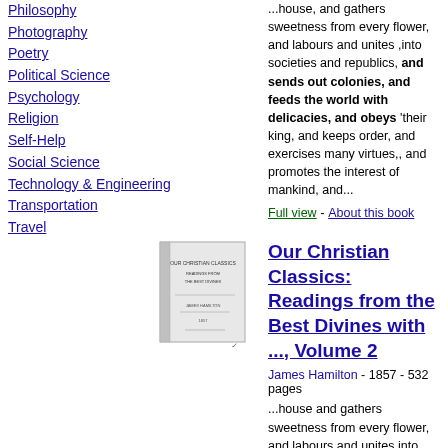Philosophy
Photography
Poetry
Political Science
Psychology
Religion
Self-Help
Social Science
Technology & Engineering
Transportation
Travel
...house, and gathers sweetness from every flower, and labours and unites ,into societies and republics, and sends out colonies, and feeds the world with delicacies, and obeys 'their king, and keeps order, and exercises many virtues,, and promotes the interest of mankind, and...
Full view - About this book
[Figure (illustration): Small thumbnail image of a book cover for Our Christian Classics]
Our Christian Classics: Readings from the Best Divines with ..., Volume 2
James Hamilton - 1857 - 532 pages
...house and gathers sweetness from every flower, and labours and unites into...